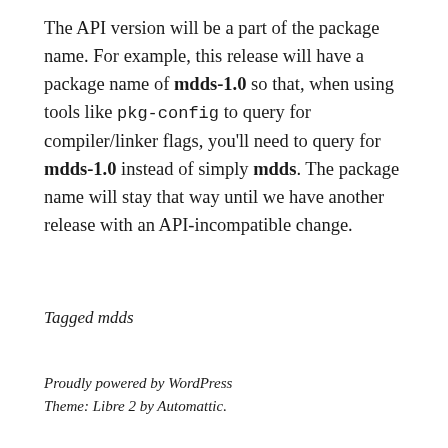The API version will be a part of the package name. For example, this release will have a package name of mdds-1.0 so that, when using tools like pkg-config to query for compiler/linker flags, you'll need to query for mdds-1.0 instead of simply mdds. The package name will stay that way until we have another release with an API-incompatible change.
Tagged mdds
Proudly powered by WordPress
Theme: Libre 2 by Automattic.